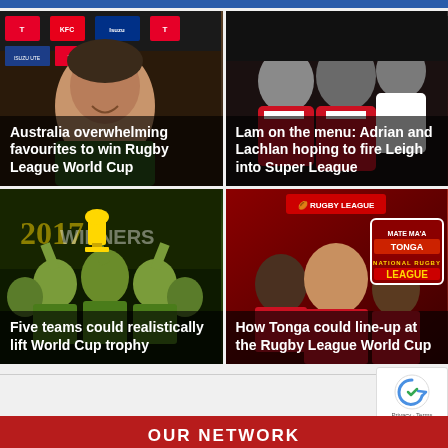[Figure (photo): News grid with 4 rugby league article cards. Top-left: Coach smiling at press conference with sponsor logos. Top-right: Rugby league players in red/white jerseys. Bottom-left: Australian team celebrating with World Cup trophy. Bottom-right: Tonga national rugby league team promotional image with 'Mate Ma'a Tonga' branding.]
Australia overwhelming favourites to win Rugby League World Cup
Lam on the menu: Adrian and Lachlan hoping to fire Leigh into Super League
Five teams could realistically lift World Cup trophy
How Tonga could line-up at the Rugby League World Cup
OUR NETWORK